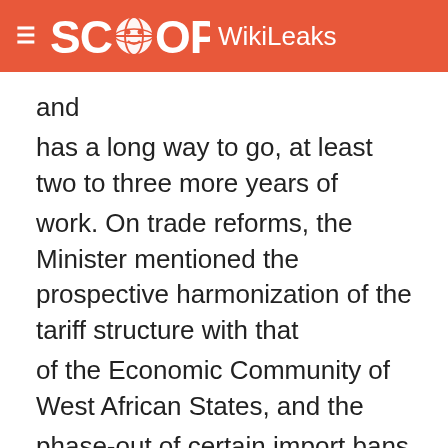SCOOP WikiLeaks
and has a long way to go, at least two to three more years of work. On trade reforms, the Minister mentioned the prospective harmonization of the tariff structure with that of the Economic Community of West African States, and the phase-out of certain import bans by January 2007.
5. The Minister concluded by reiterating the importance of infrastructure and Nigeria's huge infrastructure investment